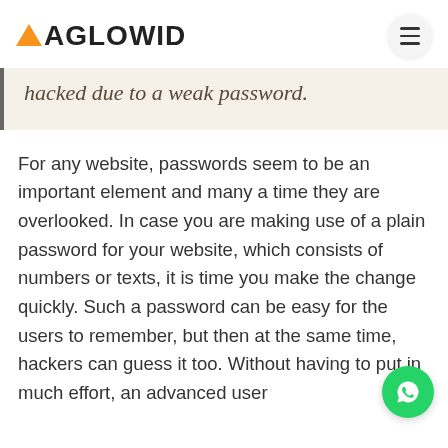AGLOWID
hacked due to a weak password.
For any website, passwords seem to be an important element and many a time they are overlooked. In case you are making use of a plain password for your website, which consists of numbers or texts, it is time you make the change quickly. Such a password can be easy for the users to remember, but then at the same time, hackers can guess it too. Without having to put in much effort, an advanced user